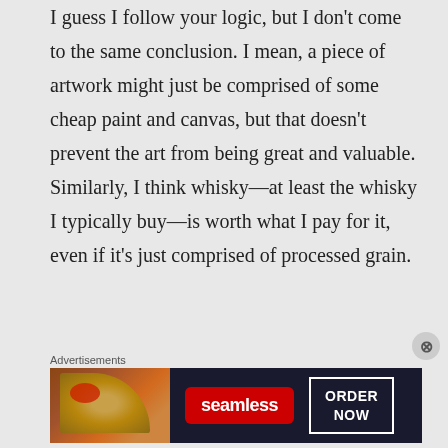I guess I follow your logic, but I don't come to the same conclusion. I mean, a piece of artwork might just be comprised of some cheap paint and canvas, but that doesn't prevent the art from being great and valuable. Similarly, I think whisky—at least the whisky I typically buy—is worth what I pay for it, even if it's just comprised of processed grain.
Advertisements
[Figure (other): Seamless food delivery advertisement banner showing pizza with Seamless logo and ORDER NOW button]